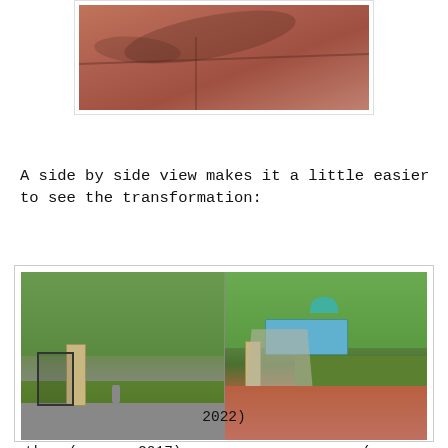[Figure (photo): Close-up photo of a reddish-brown stamped concrete patio surface with shadow patterns]
A side by side view makes it a little easier to see the transformation:
[Figure (photo): Side by side comparison of a backyard: left photo shows summer 2017 with lawn, iron gate, and stone pillar; right photo shows summer 2022 with a pool, patio, umbrella, and landscaping]
then (summer 2017)                 now (summer 2022)